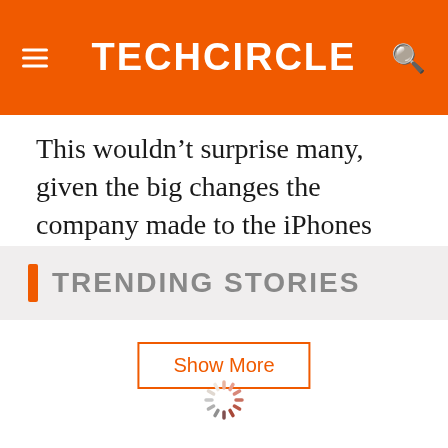TECHCiRCLE
This wouldn’t surprise many, given the big changes the company made to the iPhones last year. Apple usually follows big iPhone
Show More
TRENDING STORIES
[Figure (other): Loading spinner animation]